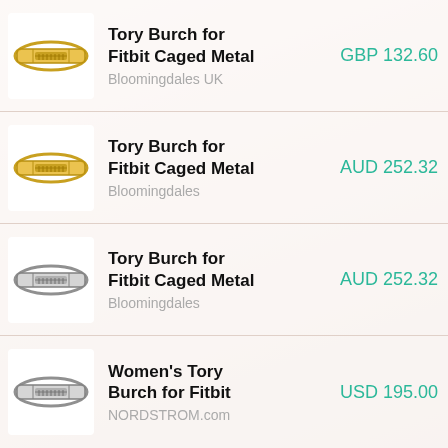[Figure (photo): Gold Tory Burch for Fitbit Caged Metal bracelet product image]
Tory Burch for Fitbit Caged Metal
Bloomingdales UK
GBP 132.60
[Figure (photo): Gold Tory Burch for Fitbit Caged Metal bracelet product image]
Tory Burch for Fitbit Caged Metal
Bloomingdales
AUD 252.32
[Figure (photo): Silver Tory Burch for Fitbit Caged Metal bracelet product image]
Tory Burch for Fitbit Caged Metal
Bloomingdales
AUD 252.32
[Figure (photo): Silver Women's Tory Burch for Fitbit bracelet product image]
Women's Tory Burch for Fitbit
NORDSTROM.com
USD 195.00